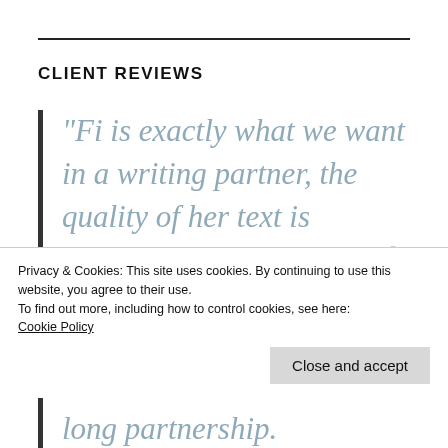CLIENT REVIEWS
“Fi is exactly what we want in a writing partner, the quality of her text is extremely professional and articulate and best of all she is able to
Privacy & Cookies: This site uses cookies. By continuing to use this website, you agree to their use.
To find out more, including how to control cookies, see here:
Cookie Policy
long partnership.